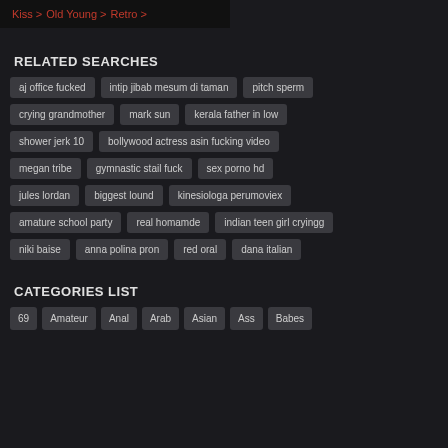Kiss > Old Young > Retro >
RELATED SEARCHES
aj office fucked
intip jibab mesum di taman
pitch sperm
crying grandmother
mark sun
kerala father in low
shower jerk 10
bollywood actress asin fucking video
megan tribe
gymnastic stail fuck
sex porno hd
jules lordan
biggest lound
kinesiologa perumoviex
amature school party
real homamde
indian teen girl cryingg
niki baise
anna polina pron
red oral
dana italian
CATEGORIES LIST
69
Amateur
Anal
Arab
Asian
Ass
Babes